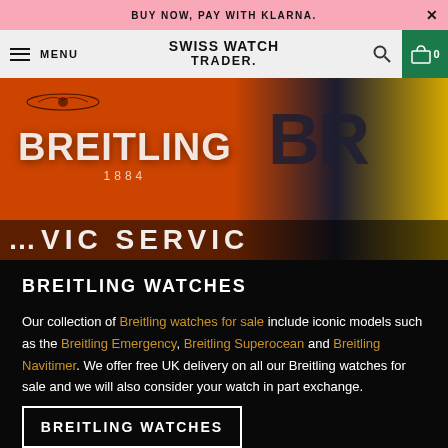BUY NOW, PAY WITH KLARNA.
SWISS WATCH TRADER.
[Figure (photo): Breitling branded orange and dark navy product boxes, with 'BREITLING 1884' logo visible on orange box and embossed 'BR' letters on dark box, yellow accent on right edge. Text overlay at bottom reads '...VIC SERVIC'.]
BREITLING WATCHES
Our collection of Breitling watches for sale include iconic models such as the Breitling Emergency, Breitling Superocean and Breitling Navitimer. We offer free UK delivery on all our Breitling watches for sale and we will also consider your watch in part exchange.
BREITLING WATCHES